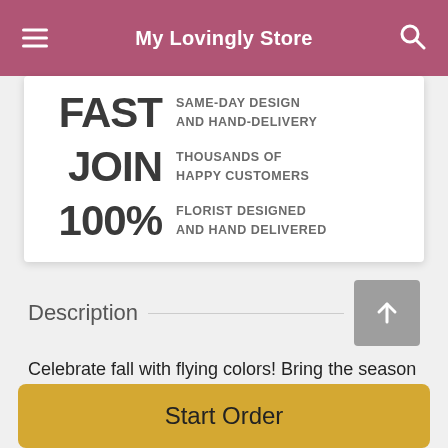My Lovingly Store
FAST SAME-DAY DESIGN AND HAND-DELIVERY
JOIN THOUSANDS OF HAPPY CUSTOMERS
100% FLORIST DESIGNED AND HAND DELIVERED
Description
Celebrate fall with flying colors! Bring the season to life with blazing orange hues, cheerful yellows, and moody
Start Order